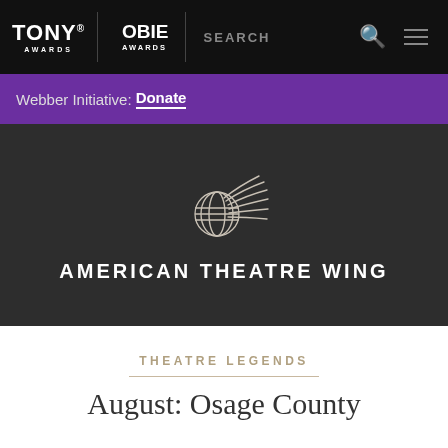TONY® AWARDS | OBIE AWARDS | SEARCH
Webber Initiative: Donate
[Figure (logo): American Theatre Wing wing logo — a stylized globe with wing feathers in silver/grey on dark background, above text AMERICAN THEATRE WING]
THEATRE LEGENDS
August: Osage County